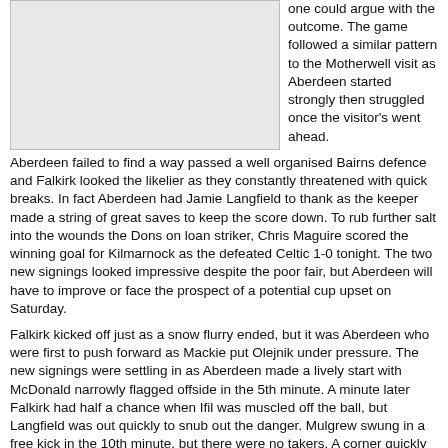[Figure (photo): Image placeholder - action photo (partial, cropped at top)]
one could argue with the outcome. The game followed a similar pattern to the Motherwell visit as Aberdeen started strongly then struggled once the visitor's went ahead.
Aberdeen failed to find a way passed a well organised Bairns defence and Falkirk looked the likelier as they constantly threatened with quick breaks. In fact Aberdeen had Jamie Langfield to thank as the keeper made a string of great saves to keep the score down. To rub further salt into the wounds the Dons on loan striker, Chris Maguire scored the winning goal for Kilmarnock as the defeated Celtic 1-0 tonight. The two new signings looked impressive despite the poor fair, but Aberdeen will have to improve or face the prospect of a potential cup upset on Saturday.
Falkirk kicked off just as a snow flurry ended, but it was Aberdeen who were first to push forward as Mackie put Olejnik under pressure. The new signings were settling in as Aberdeen made a lively start with McDonald narrowly flagged offside in the 5th minute. A minute later Falkirk had half a chance when Ifil was muscled off the ball, but Langfield was out quickly to snub out the danger. Mulgrew swung in a free kick in the 10th minute, but there were no takers. A corner quickly followed as the Dons increased the pressure.
MacLean almost
Action from Pittodrie tonight